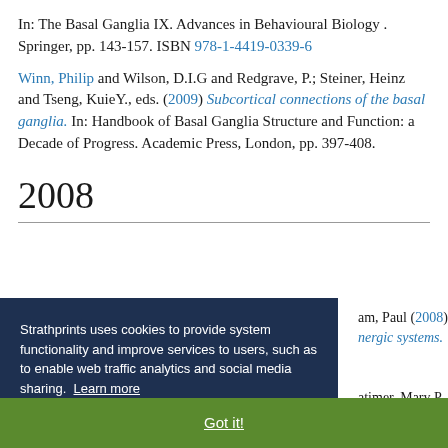In: The Basal Ganglia IX. Advances in Behavioural Biology . Springer, pp. 143-157. ISBN 978-1-4419-0339-6
Winn, Philip and Wilson, D.I.G and Redgrave, P.; Steiner, Heinz and Tseng, KuieY., eds. (2009) Subcortical connections of the basal ganglia. In: Handbook of Basal Ganglia Structure and Function: a Decade of Progress. Academic Press, London, pp. 397-408.
2008
am, Paul (2008) nergic systems.
atimer, Mary P and egmental nucleus
Strathprints uses cookies to provide system functionality and improve services to users, such as to enable web traffic analytics and social media sharing. Learn more
Got it!